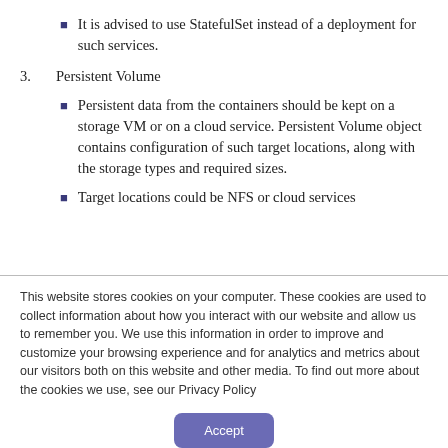It is advised to use StatefulSet instead of a deployment for such services.
3. Persistent Volume
Persistent data from the containers should be kept on a storage VM or on a cloud service. Persistent Volume object contains configuration of such target locations, along with the storage types and required sizes.
Target locations could be NFS or cloud services
This website stores cookies on your computer. These cookies are used to collect information about how you interact with our website and allow us to remember you. We use this information in order to improve and customize your browsing experience and for analytics and metrics about our visitors both on this website and other media. To find out more about the cookies we use, see our Privacy Policy